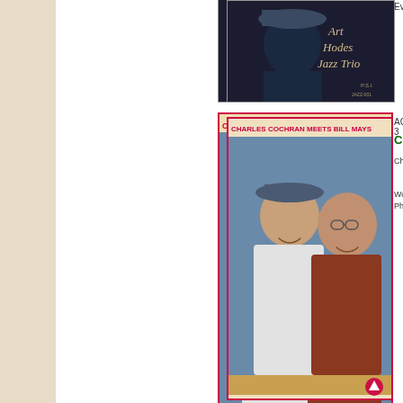[Figure (photo): Art Hodes Jazz Trio album cover - partially visible at top]
Everybody
[Figure (photo): Charles Cochran Meets Bill Mays album cover - two men smiling]
ACD-3
CHAR
Charlie
Wond Phone
[Figure (photo): Mysto's Hot Lips album cover with lip logo and band photo]
BCD-3
MYST
Lenna Corne
Ory's C Get Th
[Figure (photo): JCD-3 album cover partially visible at bottom]
JCD-3
CONT